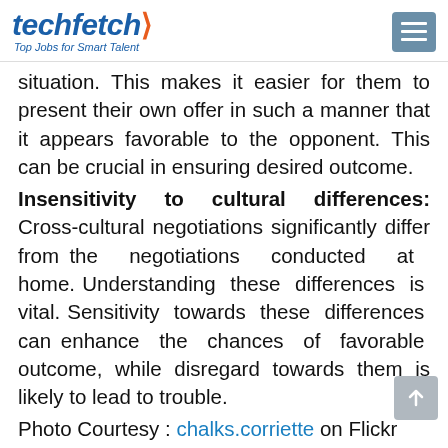techfetch — Top Jobs for Smart Talent
situation. This makes it easier for them to present their own offer in such a manner that it appears favorable to the opponent. This can be crucial in ensuring desired outcome.
Insensitivity to cultural differences: Cross-cultural negotiations significantly differ from the negotiations conducted at home. Understanding these differences is vital. Sensitivity towards these differences can enhance the chances of favorable outcome, while disregard towards them is likely to lead to trouble.
Photo Courtesy : chalks.corriette on Flickr